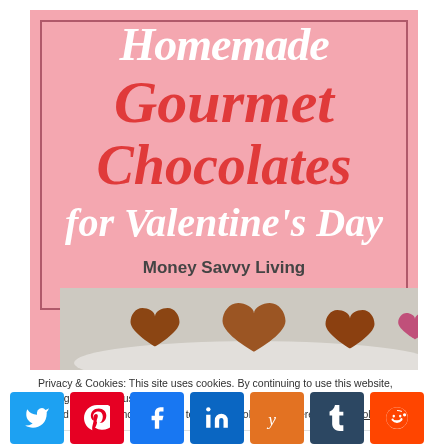[Figure (illustration): Pink banner with text 'Homemade Gourmet Chocolates for Valentine's Day' with white italic and red italic text, border rectangle, and Money Savvy Living attribution. Below is a photo strip of chocolate heart candies on a white surface.]
Privacy & Cookies: This site uses cookies. By continuing to use this website, you agree to their use.
To find out more, including how to control cookies, see here: Cookie Policy
[Figure (infographic): Row of social sharing buttons: Twitter (blue), Pinterest (red), Facebook (blue), LinkedIn (dark blue), Yummly (orange), Tumblr (dark blue-gray), Reddit (orange-red)]